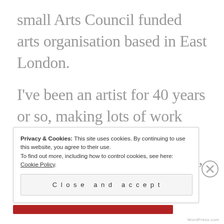small Arts Council funded arts organisation based in East London.
I've been an artist for 40 years or so, making lots of work about daily life, being a woman, bringing up children, power, that sort of thing …
Privacy & Cookies: This site uses cookies. By continuing to use this website, you agree to their use.
To find out more, including how to control cookies, see here: Cookie Policy
Close and accept